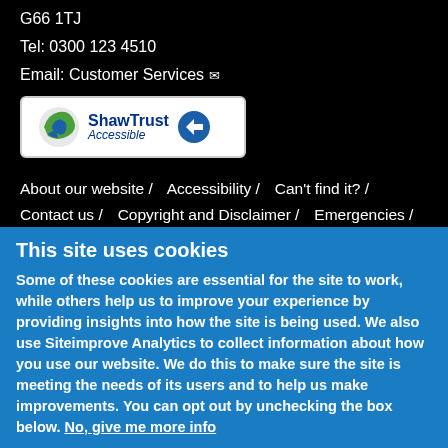G66 1TJ
Tel: 0300 123 4510
Email: Customer Services ✉
[Figure (logo): Shaw Trust Accessible badge with green/blue globe icon and blue arrow]
About our website /
Accessibility /
Can't find it? /
Contact us /
Copyright and Disclaimer /
Emergencies /
Neighbouring Councils /
[Figure (logo): Partial circular logo with text: sustainable thriving achieving]
This site uses cookies
Some of these cookies are essential for the site to work, while others help us to improve your experience by providing insights into how the site is being used. We also use Siteimprove Analytics to collect information about how you use our website. We do this to make sure the site is meeting the needs of its users and to help us make improvements. You can opt out by unchecking the box below. No, give me more info